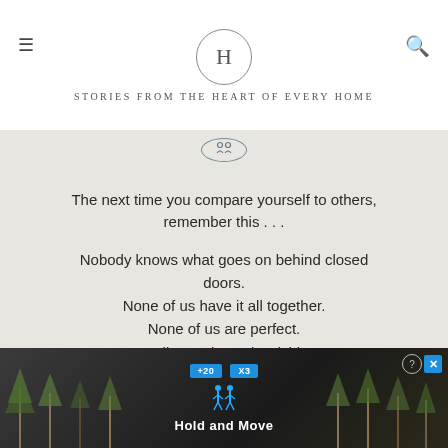H — STORIES FROM THE HEART OF EVERY HOME
[Figure (logo): Small circular icon with two figures/pins, representing Hometalk brand mark]
The next time you compare yourself to others, remember this . . .

Nobody knows what goes on behind closed doors.
None of us have it all together.
None of us are perfect.
We all experience hardships.

We ALL struggle because we are all human.
In case you need reminding,
You are enough.
[Figure (screenshot): Advertisement banner for 'Hold and Move' app showing trees and two figure icons on dark background]